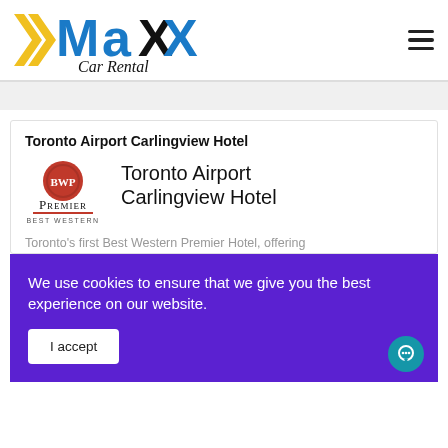[Figure (logo): Maxx Car Rental logo with yellow and blue chevron arrows and italic 'Car Rental' text]
Toronto Airport Carlingview Hotel
[Figure (logo): Best Western Premier logo with BWP red circle badge, 'Premier' in small caps, red underline, 'Best Western' text, alongside 'Toronto Airport Carlingview Hotel' text]
Toronto's first Best Western Premier Hotel, offering
We use cookies to ensure that we give you the best experience on our website.
I accept